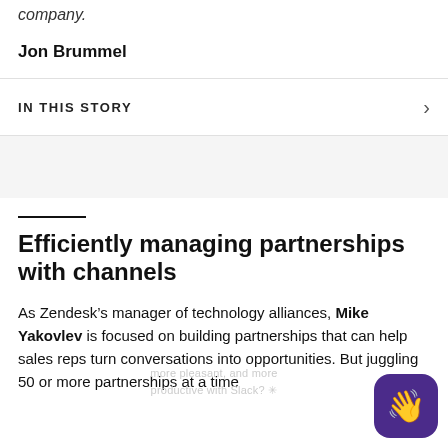company.
Jon Brummel
IN THIS STORY
Efficiently managing partnerships with channels
As Zendesk’s manager of technology alliances, Mike Yakovlev is focused on building partnerships that can help sales reps turn conversations into opportunities. But juggling 50 or more partnerships at a time